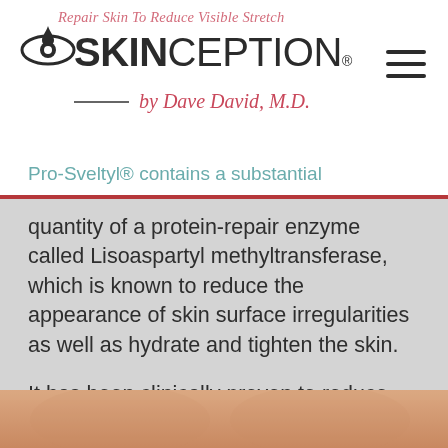Repair Skin To Reduce Visible Stretch
[Figure (logo): Skinception logo with eye/drop icon, brand name SKINCEPTION by Dave David, M.D., and hamburger menu icon]
Pro-Sveltyl® contains a substantial quantity of a protein-repair enzyme called Lisoaspartyl methyltransferase, which is known to reduce the appearance of skin surface irregularities as well as hydrate and tighten the skin.
It has been clinically proven to reduce acne scarring, and it's regenerative effects and scar-reduction capabilities are useful in the reduction of visible stretch marks.
[Figure (photo): Partial photo of skin/torso at bottom of page]